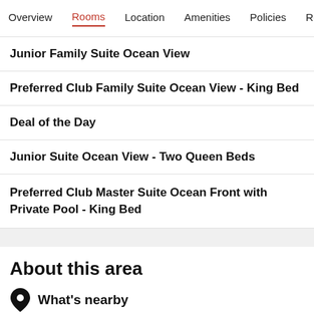Overview  Rooms  Location  Amenities  Policies  Reviews
Junior Family Suite Ocean View
Preferred Club Family Suite Ocean View - King Bed
Deal of the Day
Junior Suite Ocean View - Two Queen Beds
Preferred Club Master Suite Ocean Front with Private Pool - King Bed
About this area
What's nearby
In Playa Mujeres